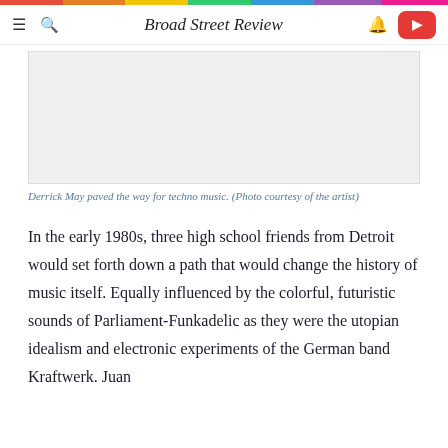Broad Street Review
[Figure (photo): Photo of Derrick May (image area, photo not visible in this crop)]
Derrick May paved the way for techno music. (Photo courtesy of the artist)
In the early 1980s, three high school friends from Detroit would set forth down a path that would change the history of music itself. Equally influenced by the colorful, futuristic sounds of Parliament-Funkadelic as they were the utopian idealism and electronic experiments of the German band Kraftwerk. Juan